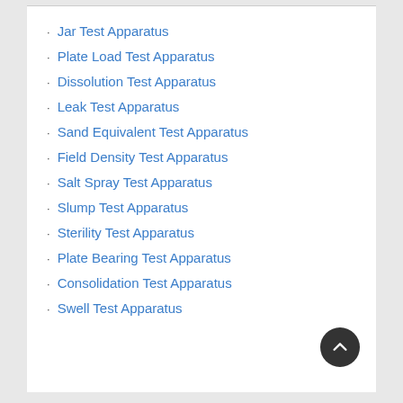Jar Test Apparatus
Plate Load Test Apparatus
Dissolution Test Apparatus
Leak Test Apparatus
Sand Equivalent Test Apparatus
Field Density Test Apparatus
Salt Spray Test Apparatus
Slump Test Apparatus
Sterility Test Apparatus
Plate Bearing Test Apparatus
Consolidation Test Apparatus
Swell Test Apparatus